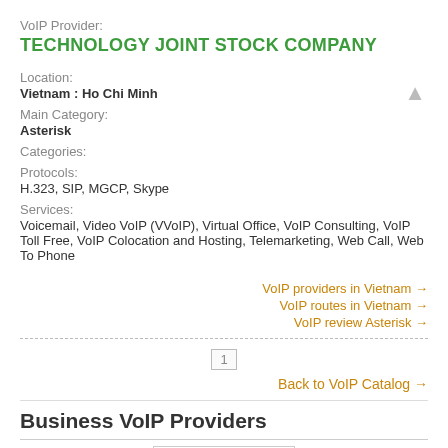VoIP Provider:
TECHNOLOGY JOINT STOCK COMPANY
Location:
Vietnam : Ho Chi Minh
Main Category:
Asterisk
Categories:
Protocols:
H.323, SIP, MGCP, Skype
Services:
Voicemail, Video VoIP (VVoIP), Virtual Office, VoIP Consulting, VoIP Toll Free, VoIP Colocation and Hosting, Telemarketing, Web Call, Web To Phone
VoIP providers in Vietnam →
VoIP routes in Vietnam →
VoIP review Asterisk →
1
Back to VoIP Catalog →
Business VoIP Providers
[Figure (logo): RingCentral logo]